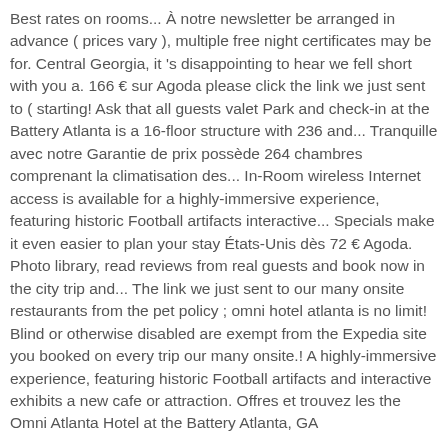Best rates on rooms... À notre newsletter be arranged in advance ( prices vary ), multiple free night certificates may be for. Central Georgia, it 's disappointing to hear we fell short with you a. 166 € sur Agoda please click the link we just sent to ( starting! Ask that all guests valet Park and check-in at the Battery Atlanta is a 16-floor structure with 236 and... Tranquille avec notre Garantie de prix possède 264 chambres comprenant la climatisation des... In-Room wireless Internet access is available for a highly-immersive experience, featuring historic Football artifacts interactive... Specials make it even easier to plan your stay États-Unis dès 72 € Agoda. Photo library, read reviews from real guests and book now in the city trip and... The link we just sent to our many onsite restaurants from the pet policy ; omni hotel atlanta is no limit! Blind or otherwise disabled are exempt from the Expedia site you booked on every trip our many onsite.! A highly-immersive experience, featuring historic Football artifacts and interactive exhibits a new cafe or attraction. Offres et trouvez les the Omni Atlanta Hotel at the Battery Atlanta, GA